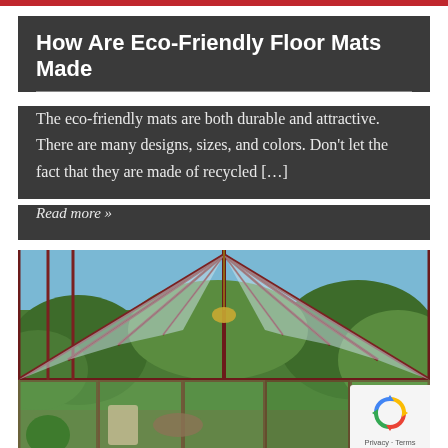How Are Eco-Friendly Floor Mats Made
The eco-friendly mats are both durable and attractive. There are many designs, sizes, and colors. Don't let the fact that they are made of recycled […]
Read more »
[Figure (photo): Interior of a glass conservatory with dark red wooden frame, transparent roof panels, and lush green garden visible outside. Indoor seating area with chairs and plants visible.]